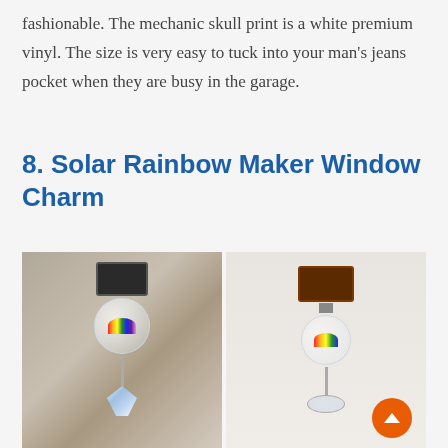fashionable. The mechanic skull print is a white premium vinyl. The size is very easy to tuck into your man's jeans pocket when they are busy in the garage.
8. Solar Rainbow Maker Window Charm
[Figure (photo): Two photos side by side of a Solar Rainbow Maker Window Charm device, showing a small solar panel on top connected to a globe containing colorful rainbow elements, with a crystal hanging below via a metal stem.]